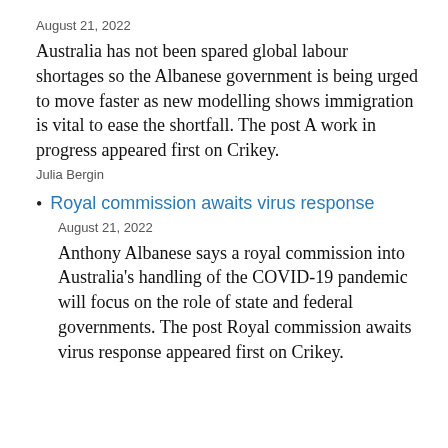August 21, 2022
Australia has not been spared global labour shortages so the Albanese government is being urged to move faster as new modelling shows immigration is vital to ease the shortfall. The post A work in progress appeared first on Crikey.
Julia Bergin
Royal commission awaits virus response
August 21, 2022
Anthony Albanese says a royal commission into Australia's handling of the COVID-19 pandemic will focus on the role of state and federal governments. The post Royal commission awaits virus response appeared first on Crikey.